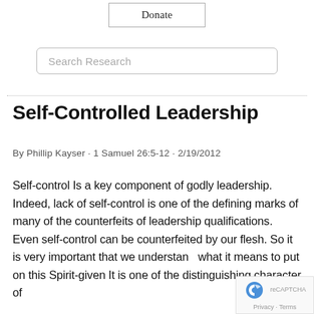[Figure (other): Donate button with border]
[Figure (other): Search Research input box with rounded border]
Self-Controlled Leadership
By Phillip Kayser · 1 Samuel 26:5-12 · 2/19/2012
Self-control Is a key component of godly leadership. Indeed, lack of self-control is one of the defining marks of many of the counterfeits of leadership qualifications. Even self-control can be counterfeited by our flesh. So it is very important that we understand what it means to put on this Spirit-given It is one of the distinguishing character of